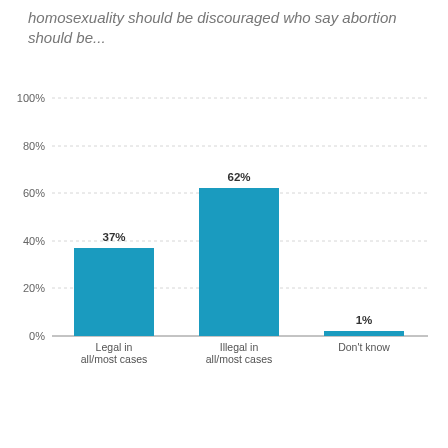homosexuality should be discouraged who say abortion should be...
[Figure (bar-chart): ]